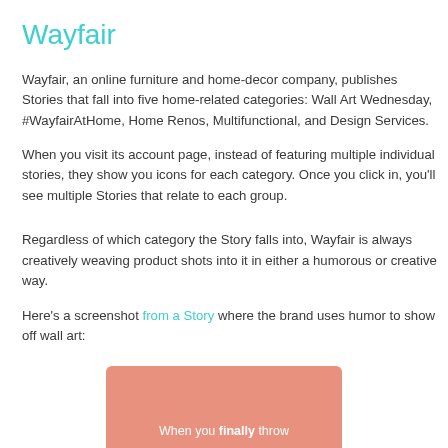Wayfair
Wayfair, an online furniture and home-decor company, publishes Stories that fall into five home-related categories: Wall Art Wednesday, #WayfairAtHome, Home Renos, Multifunctional, and Design Services.
When you visit its account page, instead of featuring multiple individual stories, they show you icons for each category. Once you click in, you'll see multiple Stories that relate to each group.
Regardless of which category the Story falls into, Wayfair is always creatively weaving product shots into it in either a humorous or creative way.
Here's a screenshot from a Story where the brand uses humor to show off wall art:
[Figure (screenshot): Partial screenshot of a Wayfair Instagram Story with a salmon/coral pink background showing text beginning with 'When you finally throw']